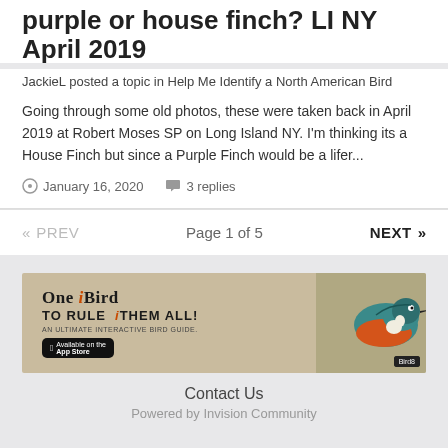purple or house finch? LI NY April 2019
JackieL posted a topic in Help Me Identify a North American Bird
Going through some old photos, these were taken back in April 2019 at Robert Moses SP on Long Island NY. I'm thinking its a House Finch but since a Purple Finch would be a lifer...
January 16, 2020   3 replies
«  PREV   Page 1 of 5   NEXT  »
[Figure (illustration): Advertisement banner for iBird app: 'ONE iBIRD TO RULE THEM ALL! AN ULTIMATE INTERACTIVE BIRD GUIDE.' with App Store button and image of a kingfisher bird with Bird8 badge.]
Contact Us
Powered by Invision Community